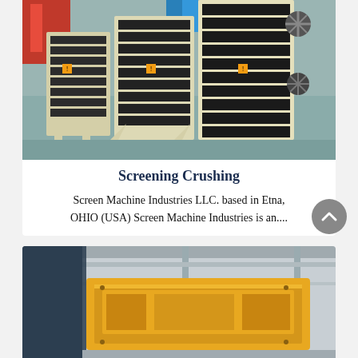[Figure (photo): Industrial screening/crushing machines (vibrating screen equipment) arranged in a factory setting, cream/white and black colored heavy machinery]
Screening Crushing
Screen Machine Industries LLC. based in Etna, OHIO (USA) Screen Machine Industries is an....
[Figure (photo): Yellow industrial crushing/screening machine in a large warehouse or factory hall, second card partially visible at bottom of page]